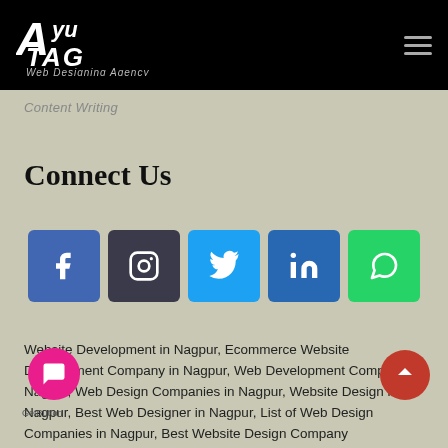[Figure (logo): AyuTag Web Designing Agency logo in white on black background]
Content Writing
Connect Us
[Figure (infographic): Social media icons row: Facebook, Instagram, Twitter, LinkedIn, WhatsApp]
Website Development in Nagpur, Ecommerce Website Development Company in Nagpur, Web Development Company in Nagpur, Web Design Companies in Nagpur, Website Design in Nagpur, Best Web Designer in Nagpur, List of Web Design Companies in Nagpur, Best Website Design Company